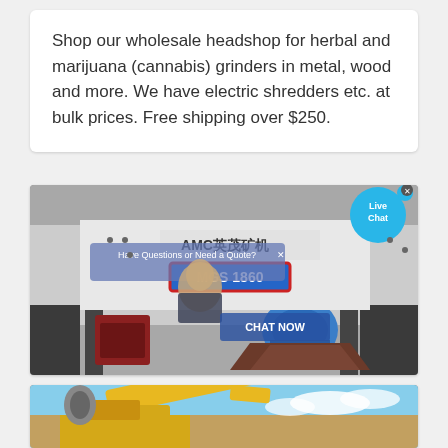Shop our wholesale headshop for herbal and marijuana (cannabis) grinders in metal, wood and more. We have electric shredders etc. at bulk prices. Free shipping over $250.
[Figure (photo): Industrial mining equipment photo (AMC MGS 1860 machine) with a live chat popup overlay showing a customer service representative, 'Have Questions or Need a Quote?' banner, and 'CHAT NOW' button. A blue electric motor is visible on the machinery.]
[Figure (photo): Industrial construction or mining equipment photo showing yellow machinery against a sky background.]